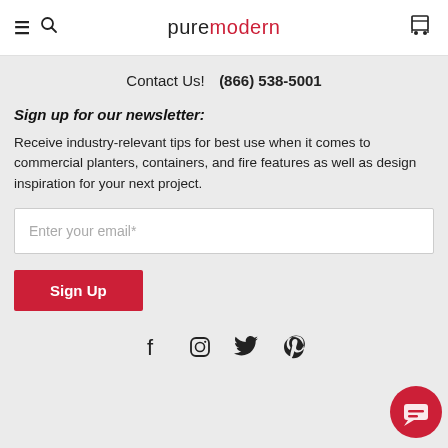puremodern
Contact Us!    (866) 538-5001
Sign up for our newsletter:
Receive industry-relevant tips for best use when it comes to commercial planters, containers, and fire features as well as design inspiration for your next project.
Enter your email*
Sign Up
[Figure (infographic): Social media icons row: Facebook, Instagram, Twitter, Pinterest]
[Figure (infographic): Red circular chat support button in the bottom right corner]